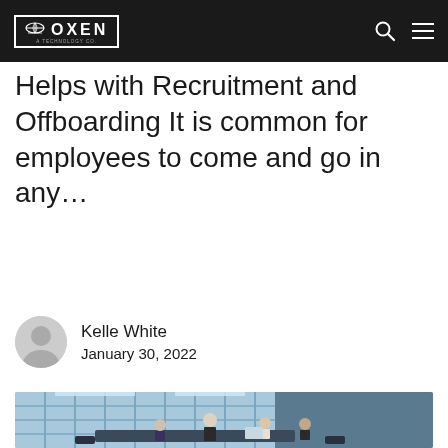OXEN
Helps with Recruitment and Offboarding It is common for employees to come and go in any…
Kelle White
January 30, 2022
[Figure (photo): Business meeting in a modern glass office building. A woman stands at the head of a conference table presenting to three seated colleagues with laptops and documents.]